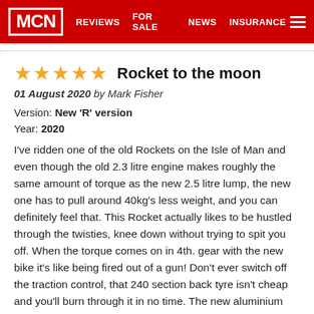MCN | REVIEWS | FOR SALE | NEWS | INSURANCE
Rocket to the moon
01 August 2020 by Mark Fisher
Version: New 'R' version
Year: 2020
I've ridden one of the old Rockets on the Isle of Man and even though the old 2.3 litre engine makes roughly the same amount of torque as the new 2.5 litre lump, the new one has to pull around 40kg's less weight, and you can definitely feel that. This Rocket actually likes to be hustled through the twisties, knee down without trying to spit you off. When the torque comes on in 4th. gear with the new bike it's like being fired out of a gun! Don't ever switch off the traction control, that 240 section back tyre isn't cheap and you'll burn through it in no time. The new aluminium spine frame and Showa suspension inspire confidence and the Brembo stoppers are amazing. The